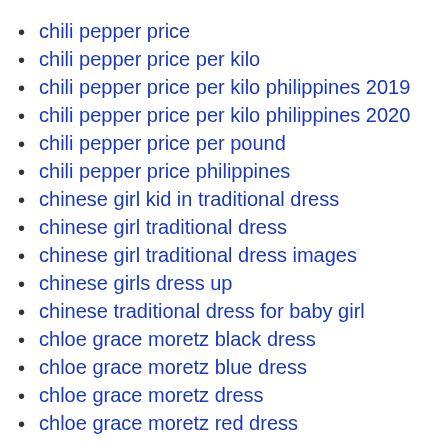chili pepper price
chili pepper price per kilo
chili pepper price per kilo philippines 2019
chili pepper price per kilo philippines 2020
chili pepper price per pound
chili pepper price philippines
chinese girl kid in traditional dress
chinese girl traditional dress
chinese girl traditional dress images
chinese girls dress up
chinese traditional dress for baby girl
chloe grace moretz black dress
chloe grace moretz blue dress
chloe grace moretz dress
chloe grace moretz red dress